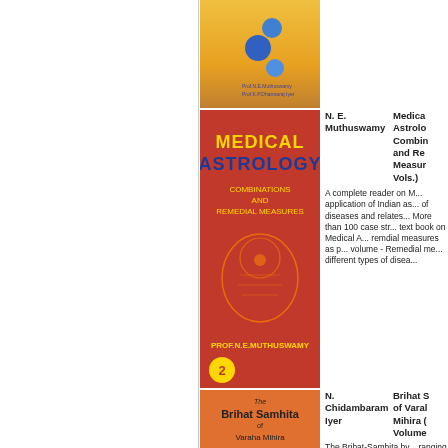[Figure (photo): Top portion of a book cover with blue spheres on a yellow/orange background, partially visible at the top of the page.]
[Figure (photo): Book cover: Medical Astrology Combinations and Remedial Measures by Prof. N.E. Muthuswamy, Volume 2. Red cover with yellow and blue title text, showing a head/brain illustration.]
N. E. Muthuswamy
Medical Astrology Combinations and Remedial Measures (2 Vols.)
A complete reader on Medical Astrology - application of Indian astrology in diagnosis of diseases and related matters. More than 100 case studies. A comprehensive text book on Medical Astrology with remdial measures as per Indian. The 2nd volume - Remedial measures for different types of disea...
[Figure (photo): Book cover: The Brihat Samhita of Varaha Mihira by N. Chidambaram Iyer. Orange cover with carved figures at the bottom.]
N. Chidambaram Iyer
Brihat Samhita of Varaha Mihira (2 Volumes)
The Brihat-Samhita by Varahamihira covers wide ranging subjects of human interest such as planetary movements, eclipses, rainfall, clouds, growth of crops, matrimony, domestic relations and rituals. It contains ...